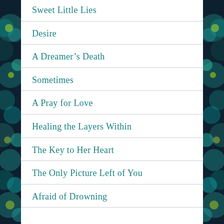Sweet Little Lies
Desire
A Dreamer’s Death
Sometimes
A Pray for Love
Healing the Layers Within
The Key to Her Heart
The Only Picture Left of You
Afraid of Drowning